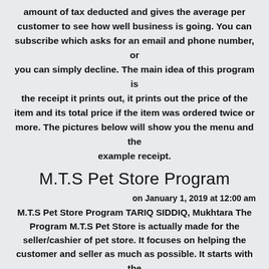amount of tax deducted and gives the average per customer to see how well business is going. You can subscribe which asks for an email and phone number, or you can simply decline. The main idea of this program is the receipt it prints out, it prints out the price of the item and its total price if the item was ordered twice or more. The pictures below will show you the menu and the example receipt.
M.T.S Pet Store Program
on January 1, 2019 at 12:00 am
M.T.S Pet Store Program TARIQ SIDDIQ, Mukhtara The Program M.T.S Pet Store is actually made for the seller/cashier of pet store. It focuses on helping the customer and seller as much as possible. It starts with the